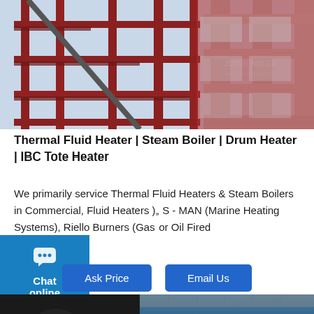[Figure (photo): Industrial boiler or thermal fluid heater structure under construction, showing multi-story red steel framework with platforms and ladders, against a light sky background]
Thermal Fluid Heater | Steam Boiler | Drum Heater | IBC Tote Heater
We primarily service Thermal Fluid Heaters & Steam Boilers in Commercial, Fluid Heaters ), S - MAN (Marine Heating Systems), Riello Burners (Gas or Oil Fired
[Figure (screenshot): Chat online widget in blue on the left side, with an X close button, showing a speech bubble chat icon and text 'Chat online']
[Figure (screenshot): Two buttons: 'Ask Price' and 'Email Us', styled with blue background and rounded corners]
[Figure (photo): Bottom section showing a dark industrial boiler or machinery exterior with a blue glass building reflection, and a circular chat button in the lower right corner]